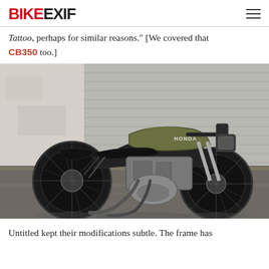BIKEEXIF
Tattoo, perhaps for similar reasons." [We covered that CB350 too.]
[Figure (photo): Side profile of a custom Honda CB350 cafe racer motorcycle in olive green/black, parked on a wet street in front of a corrugated metal roll-up garage door and white concrete wall.]
Untitled kept their modifications subtle. The frame has